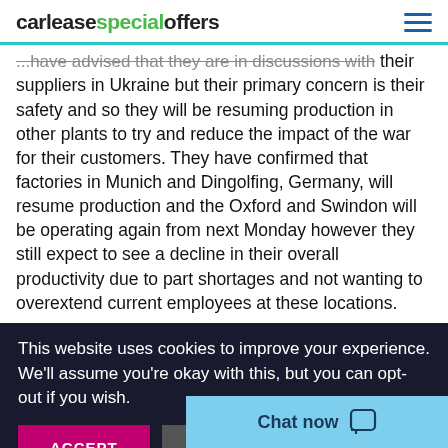carleasespecialoffers
...have advised that they are in discussions with their suppliers in Ukraine but their primary concern is their safety and so they will be resuming production in other plants to try and reduce the impact of the war for their customers. They have confirmed that factories in Munich and Dingolfing, Germany, will resume production and the Oxford and Swindon will be operating again from next Monday however they still expect to see a decline in their overall productivity due to part shortages and not wanting to overextend current employees at these locations.
This website uses cookies to improve your experience. We'll assume you're okay with this, but you can opt-out if you wish.
ACCEPT
READ MORE
Chat now